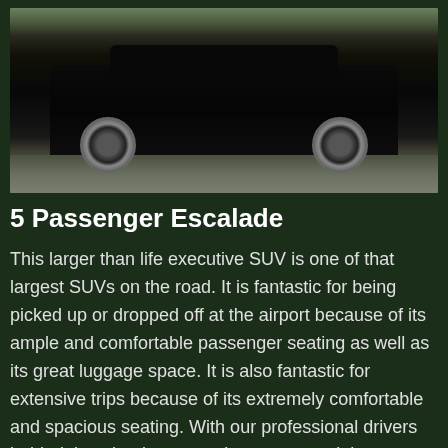[Figure (photo): Black Cadillac Escalade SUV parked in a lot, front three-quarter view, with other vehicles visible in background]
5 Passenger Escalade
This larger than life executive SUV is one of that largest SUVs on the road. It is fantastic for being picked up or dropped off at the airport because of its ample and comfortable passenger seating as well as its great luggage space. It is also fantastic for extensive trips because of its extremely comfortable and spacious seating. With our professional drivers behind the wheel, you can be guaranteed that you will have a safe and comfortable ride through one of our awesome Ford Escalade SUVs. Every passenger will think of